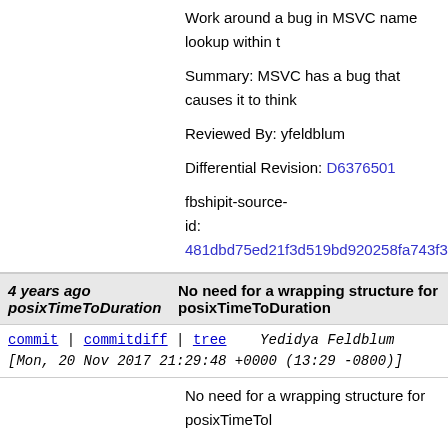Work around a bug in MSVC name lookup within t
Summary: MSVC has a bug that causes it to think
Reviewed By: yfeldblum
Differential Revision: D6376501
fbshipit-source-id: 481dbd75ed21f3d519bd920258fa743f314668a
4 years ago posixTimeToDuration — No need for a wrapping structure for posixTimeToDuration
commit | commitdiff | tree   Yedidya Feldblum [Mon, 20 Nov 2017 21:29:48 +0000 (13:29 -0800)]
No need for a wrapping structure for posixTimeTol
Summary:
[Folly] No need for a wrapping structure for `posix`
We can just use a variant of tag dispatch. In this v initialized value of the desired return type and we
Reviewed By: simpkins
Differential Revision: D6371572